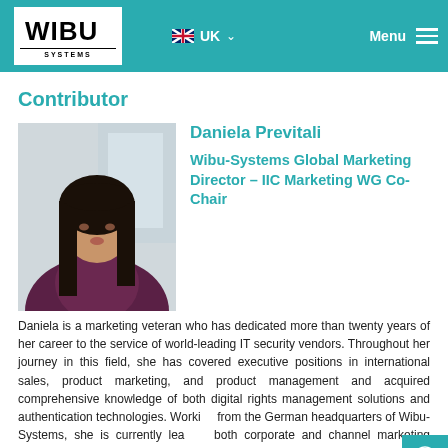WIBU SYSTEMS | UK | Menu
Contributor
[Figure (photo): Professional headshot of Daniela Previtali, a woman with long dark hair and bangs, wearing a dark purple/maroon shirt, photographed against a blurred modern interior background.]
Daniela Previtali
Wibu-Systems Global Marketing Director – IIC Marketing WG Co-Chair
Daniela is a marketing veteran who has dedicated more than twenty years of her career to the service of world-leading IT security vendors. Throughout her journey in this field, she has covered executive positions in international sales, product marketing, and product management and acquired comprehensive knowledge of both digital rights management solutions and authentication technologies. Working from the German headquarters of Wibu-Systems, she is currently leading both corporate and channel marketing activities, innovating penetration strategies, and infusing her multinational team with a holistic mindset.